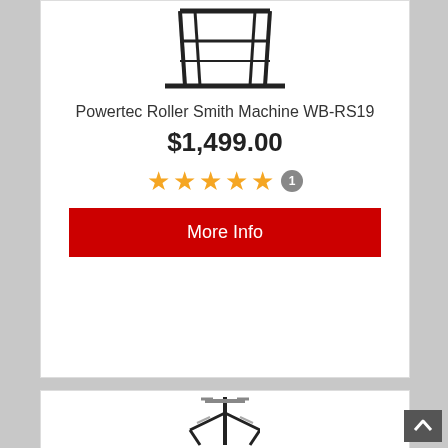[Figure (photo): Partial image of Powertec Roller Smith Machine WB-RS19, showing the top frame structure against white background]
Powertec Roller Smith Machine WB-RS19
$1,499.00
[Figure (other): 5 gold star rating with review count badge showing 1]
More Info
[Figure (photo): Partial image of a weight storage/plate tree fitness equipment, black metal frame, visible at bottom of page]